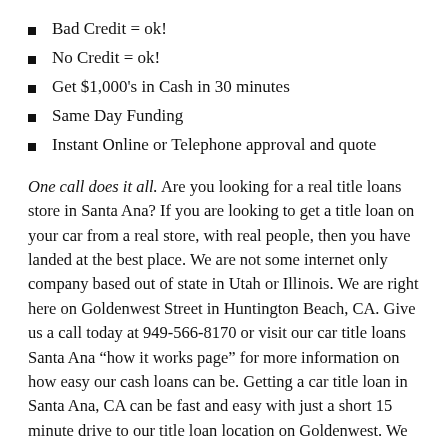Bad Credit = ok!
No Credit = ok!
Get $1,000's in Cash in 30 minutes
Same Day Funding
Instant Online or Telephone approval and quote
One call does it all. Are you looking for a real title loans store in Santa Ana? If you are looking to get a title loan on your car from a real store, with real people, then you have landed at the best place. We are not some internet only company based out of state in Utah or Illinois. We are right here on Goldenwest Street in Huntington Beach, CA. Give us a call today at 949-566-8170 or visit our car title loans Santa Ana “how it works page” for more information on how easy our cash loans can be. Getting a car title loan in Santa Ana, CA can be fast and easy with just a short 15 minute drive to our title loan location on Goldenwest. We pioneered this product over 15 years ago so we know how to exceed all your expectations. At Title Loans Orange County we make sure...